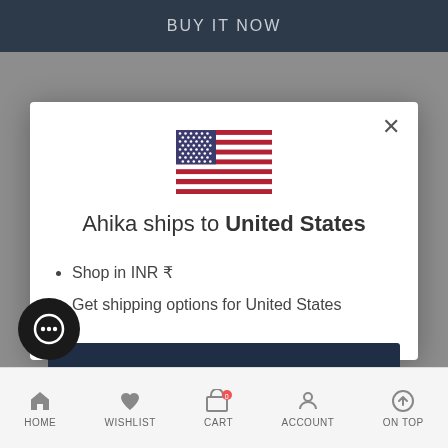BUY IT NOW
[Figure (illustration): US flag emoji/icon centered in modal]
Ahika ships to United States
Shop in INR ₹
Get shipping options for United States
Shop now
Change shipping country
HOME  WISHLIST  CART  ACCOUNT  ON TOP